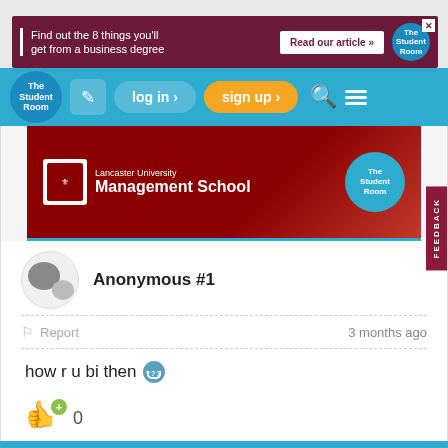[Figure (screenshot): Ad banner: Find out the 8 things you'll get from a business degree. Read our article button. The Student Room logo.]
[Figure (screenshot): The Student Room navigation bar with logo, edit icon, log in, sign up, search and menu icons.]
[Figure (screenshot): Lancaster University Management School advertisement banner with The Student Room bubble logo.]
Anonymous #1
Report
3 months ago
how r u bi then
0